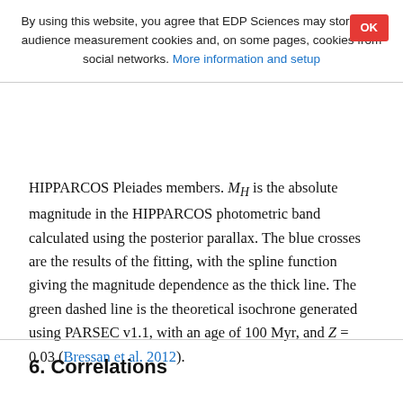By using this website, you agree that EDP Sciences may store web audience measurement cookies and, on some pages, cookies from social networks. More information and setup
HIPPARCOS Pleiades members. M_H is the absolute magnitude in the HIPPARCOS photometric band calculated using the posterior parallax. The blue crosses are the results of the fitting, with the spline function giving the magnitude dependence as the thick line. The green dashed line is the theoretical isochrone generated using PARSEC v1.1, with an age of 100 Myr, and Z = 0.03 (Bressan et al. 2012).
6. Correlations